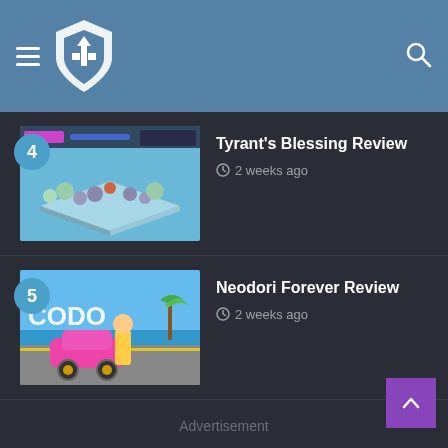[Figure (logo): Gaming website header with hamburger menu icon, shield/helmet logo, and search icon on blue background]
4 — Tyrant's Blessing Review — 2 weeks ago
5 — Neodori Forever Review — 2 weeks ago
Advertisement